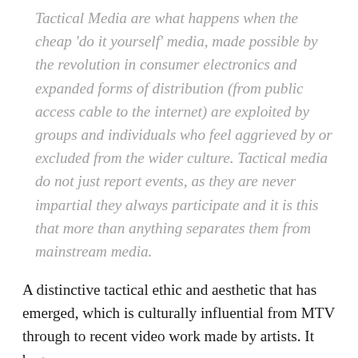Tactical Media are what happens when the cheap 'do it yourself' media, made possible by the revolution in consumer electronics and expanded forms of distribution (from public access cable to the internet) are exploited by groups and individuals who feel aggrieved by or excluded from the wider culture. Tactical media do not just report events, as they are never impartial they always participate and it is this that more than anything separates them from mainstream media.
A distinctive tactical ethic and aesthetic that has emerged, which is culturally influential from MTV through to recent video work made by artists. It began